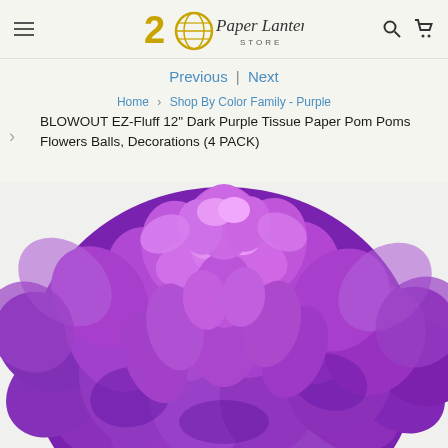20 Paper Lantern Store
Previous | Next
Home > Shop By Color Family - Purple
BLOWOUT EZ-Fluff 12" Dark Purple Tissue Paper Pom Poms Flowers Balls, Decorations (4 PACK)
[Figure (photo): Close-up photo of a large dark purple tissue paper pom pom flower decoration against a white background]